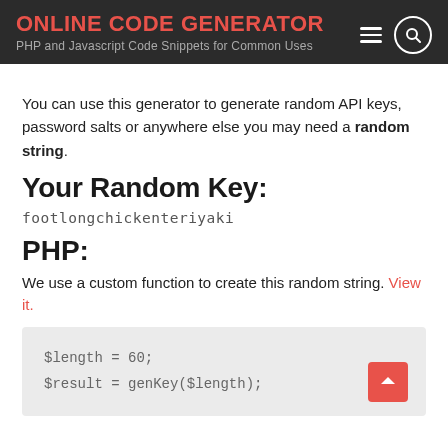ONLINE CODE GENERATOR
PHP and Javascript Code Snippets for Common Uses
You can use this generator to generate random API keys, password salts or anywhere else you may need a random string.
Your Random Key:
footlongchickenteriyaki
PHP:
We use a custom function to create this random string. View it.
$length = 60;
$result = genKey($length);